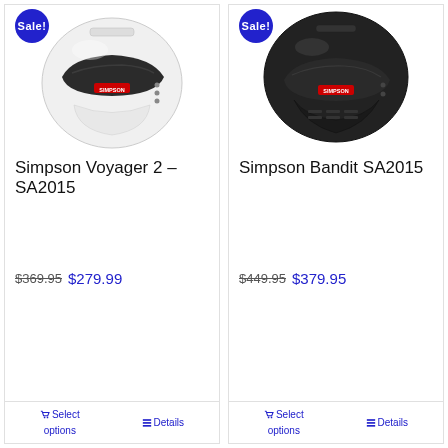[Figure (photo): White Simpson Voyager 2 SA2015 racing helmet with black visor, shown from front-right angle. Sale badge in top left.]
Simpson Voyager 2 – SA2015
$369.95  $279.99
Select options  Details
[Figure (photo): Black Simpson Bandit SA2015 racing helmet with dark visor and chin guard, shown from front-right angle. Sale badge in top left.]
Simpson Bandit SA2015
$449.95  $379.95
Select options  Details